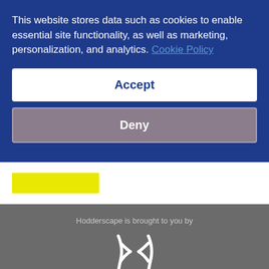This website stores data such as cookies to enable essential site functionality, as well as marketing, personalization, and analytics. Cookie Policy
Accept
Deny
[Figure (other): Yellow highlight bar on white background]
Hodderscape is brought to you by
[Figure (logo): Hodder & Stoughton logo — stylized H letterform in white above the text HODDER & STOUGHTON]
CONTACT US | PRIVACY POLICY | COOKIES | TERMS & CONDITIONS